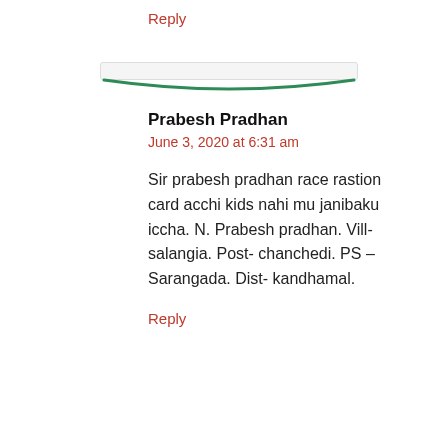Reply
Prabesh Pradhan
June 3, 2020 at 6:31 am
Sir prabesh pradhan race rastion card acchi kids nahi mu janibaku iccha. N. Prabesh pradhan. Vill- salangia. Post- chanchedi. PS – Sarangada. Dist- kandhamal.
Reply